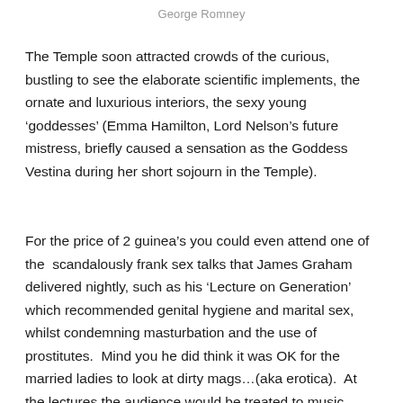George Romney
The Temple soon attracted crowds of the curious, bustling to see the elaborate scientific implements, the ornate and luxurious interiors, the sexy young ‘goddesses’ (Emma Hamilton, Lord Nelson’s future mistress, briefly caused a sensation as the Goddess  Vestina during her short sojourn in the Temple).
For the price of 2 guinea’s you could even attend one of the  scandalously frank sex talks that James Graham delivered nightly, such as his ‘Lecture on Generation’ which recommended genital hygiene and marital sex, whilst condemning masturbation and the use of prostitutes.  Mind you he did think it was OK for the married ladies to look at dirty mags…(aka erotica).  At the lectures the audience would be treated to music, poetry,